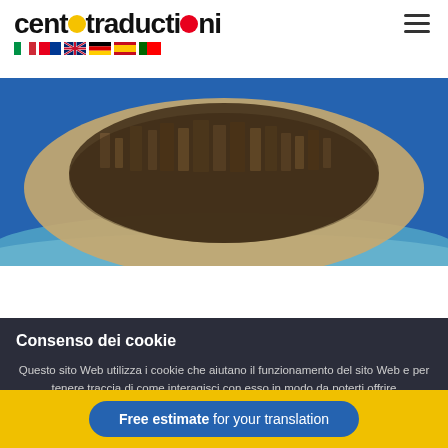[Figure (logo): Centotraduzioni logo with colored circles and flag strip]
[Figure (photo): Aerial fisheye view of a coastal city with blue sky and sea]
Consenso dei cookie
Questo sito Web utilizza i cookie che aiutano il funzionamento del sito Web e per tenere traccia di come interagisci con esso in modo da poterti offrire un'esperienza utente migliorata e personalizzata. Utilizzeremo i cookie solo se acconsenti facendo clic su Accetta. Puoi anche gestire le preferenze dei singoli cookie dalle Impostazioni.
Free estimate for your translation